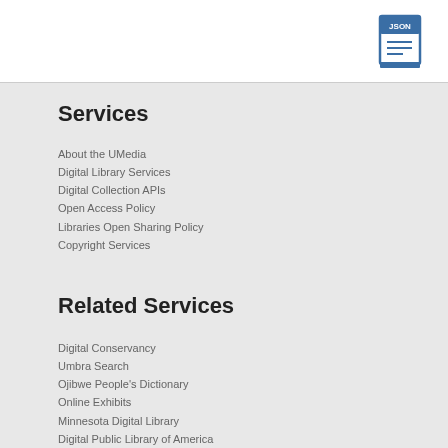[Figure (logo): JSON file icon — blue document outline with 'JSON' text label, book-style icon]
Services
About the UMedia
Digital Library Services
Digital Collection APIs
Open Access Policy
Libraries Open Sharing Policy
Copyright Services
Related Services
Digital Conservancy
Umbra Search
Ojibwe People's Dictionary
Online Exhibits
Minnesota Digital Library
Digital Public Library of America
Libraries